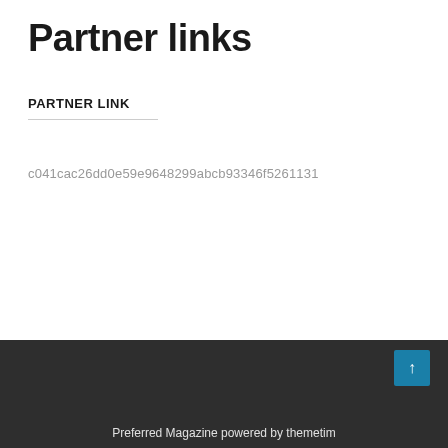Partner links
PARTNER LINK
c041cac26dd0e59e9648299abcb93346f5261131
Preferred Magazine powered by themetim